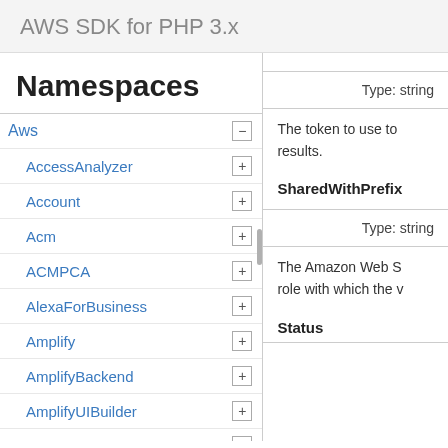AWS SDK for PHP 3.x
Namespaces
Aws
AccessAnalyzer
Account
Acm
ACMPCA
AlexaForBusiness
Amplify
AmplifyBackend
AmplifyUIBuilder
Api
ApiGateway
ApiGatewayManagementApi
Type: string
The token to use to results.
SharedWithPrefix
Type: string
The Amazon Web S role with which the v
Status